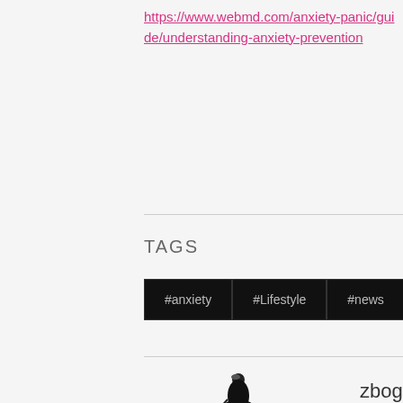https://www.webmd.com/anxiety-panic/guide/understanding-anxiety-prevention
TAGS
#anxiety
#Lifestyle
#news
[Figure (logo): Happy Mothers blog logo with stylized woman pushing a pram]
zbogojeski